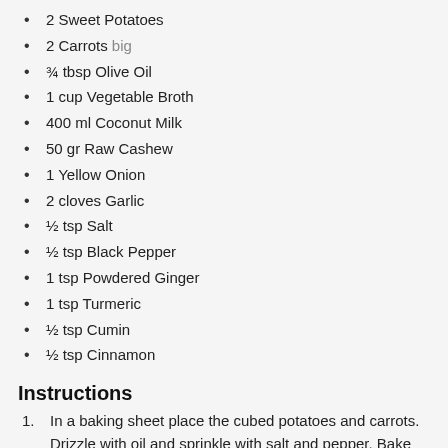2 Sweet Potatoes
2 Carrots big
¾ tbsp Olive Oil
1 cup Vegetable Broth
400 ml Coconut Milk
50 gr Raw Cashew
1 Yellow Onion
2 cloves Garlic
½ tsp Salt
½ tsp Black Pepper
1 tsp Powdered Ginger
1 tsp Turmeric
½ tsp Cumin
½ tsp Cinnamon
Instructions
In a baking sheet place the cubed potatoes and carrots. Drizzle with oil and sprinkle with salt and pepper. Bake for 40 minutes at 200 degrees.
Heat olive oil in a pot. Add the chopped onion, garlic and herbs. Cook until golden brown.